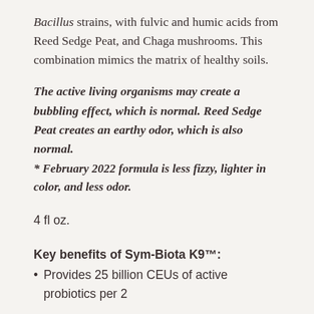Bacillus strains, with fulvic and humic acids from Reed Sedge Peat, and Chaga mushrooms. This combination mimics the matrix of healthy soils.
The active living organisms may create a bubbling effect, which is normal. Reed Sedge Peat creates an earthy odor, which is also normal.
* February 2022 formula is less fizzy, lighter in color, and less odor.
4 fl oz.
Key benefits of Sym-Biota K9™:
Provides 25 billion CEUs of active probiotics per 2